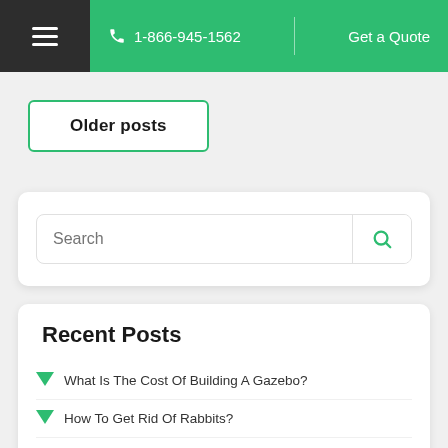☰  1-866-945-1562  Get a Quote
Older posts
[Figure (screenshot): Search input box with search icon button]
Recent Posts
What Is The Cost Of Building A Gazebo?
How To Get Rid Of Rabbits?
How To Landscape Around Trees?